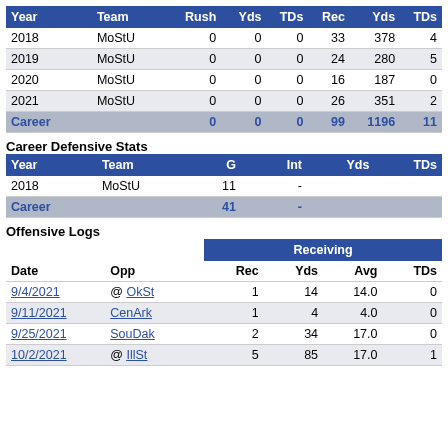| Year | Team | Rush | Yds | TDs | Rec | Yds | TDs |
| --- | --- | --- | --- | --- | --- | --- | --- |
| 2018 | MoStU | 0 | 0 | 0 | 33 | 378 | 4 |
| 2019 | MoStU | 0 | 0 | 0 | 24 | 280 | 5 |
| 2020 | MoStU | 0 | 0 | 0 | 16 | 187 | 0 |
| 2021 | MoStU | 0 | 0 | 0 | 26 | 351 | 2 |
| Career |  | 0 | 0 | 0 | 99 | 1196 | 11 |
Career Defensive Stats
| Year | Team | G | Int | Yds | TDs |
| --- | --- | --- | --- | --- | --- |
| 2018 | MoStU | 11 | - |  |  |
| Career |  | 41 | - |  |  |
Offensive Logs
| Date | Opp | Rec | Yds | Avg | TDs |
| --- | --- | --- | --- | --- | --- |
| 9/4/2021 | @ OkSt | 1 | 14 | 14.0 | 0 |
| 9/11/2021 | CenArk | 1 | 4 | 4.0 | 0 |
| 9/25/2021 | SouDak | 2 | 34 | 17.0 | 0 |
| 10/2/2021 | @ IllSt | 5 | 85 | 17.0 | 1 |